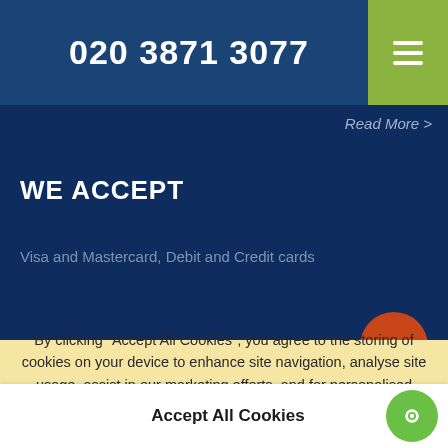020 3871 3077
Read More >
WE ACCEPT
Visa and Mastercard, Debit and Credit cards
By clicking "Accept All Cookies", you agree to the storing of cookies on your device to enhance site navigation, analyse site usage, assist in our marketing efforts, and for personalised advertising.
More Information
Accept All Cookies